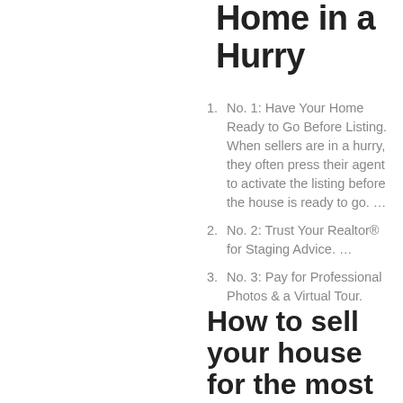Home in a Hurry
No. 1: Have Your Home Ready to Go Before Listing. When sellers are in a hurry, they often press their agent to activate the listing before the house is ready to go. …
No. 2: Trust Your Realtor® for Staging Advice. …
No. 3: Pay for Professional Photos & a Virtual Tour.
How to sell your house for the most money